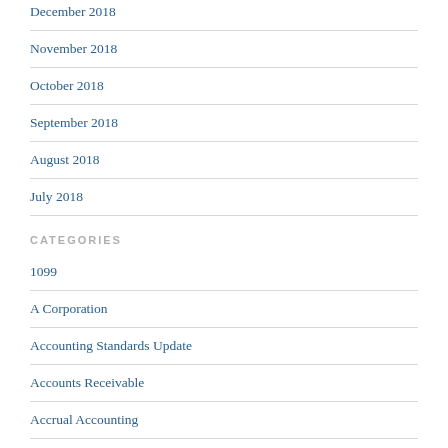December 2018
November 2018
October 2018
September 2018
August 2018
July 2018
CATEGORIES
1099
A Corporation
Accounting Standards Update
Accounts Receivable
Accrual Accounting
Advance Child Tax Credit
Advance Directive
Analytical Procedures
Analytical Software
Audit
Auditing Accounts Payable